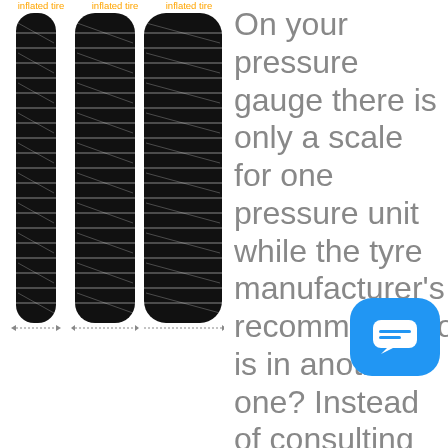[Figure (illustration): Three tire illustrations side by side labeled 'inflated tire', each showing tire tread pattern with width arrows beneath, progressively wider from left to right.]
On your pressure gauge there is only a scale for one pressure unit while the tyre manufacturer's recommendation is in another one? Instead of consulting your physics teacher you can use this app. It converts instantly your input from of the most common units KPA (kilo pascal), PSI (pounds per square inch) and